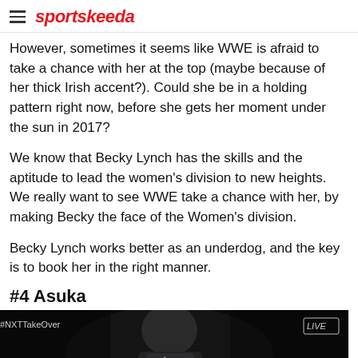sportskeeda
However, sometimes it seems like WWE is afraid to take a chance with her at the top (maybe because of her thick Irish accent?). Could she be in a holding pattern right now, before she gets her moment under the sun in 2017?
We know that Becky Lynch has the skills and the aptitude to lead the women's division to new heights. We really want to see WWE take a chance with her, by making Becky the face of the Women's division.
Becky Lynch works better as an underdog, and the key is to book her in the right manner.
#4 Asuka
[Figure (photo): Dark photo of a wrestler at NXT TakeOver event. #NXTTakeOver watermark on left, LIVE badge on right.]
[Figure (infographic): BitLife advertisement banner with emoji characters on red background. Text reads REAL CHOICES.]